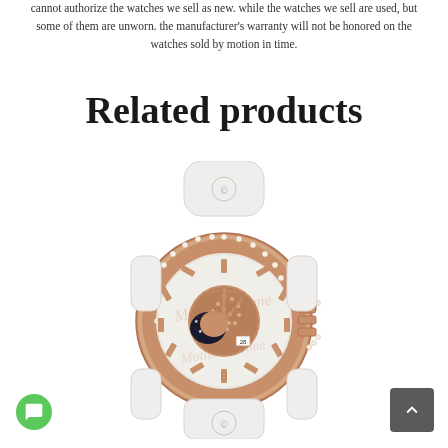cannot authorize the watches we sell as new. while the watches we sell are used, but some of them are unworn. the manufacturer's warranty will not be honored on the watches sold by motion in time.
Related products
[Figure (photo): A luxury watch with rose gold case covered in diamonds, white rubber strap, moon phase display on the dial. Watermark text 'Motion in Time' overlaid on the image.]